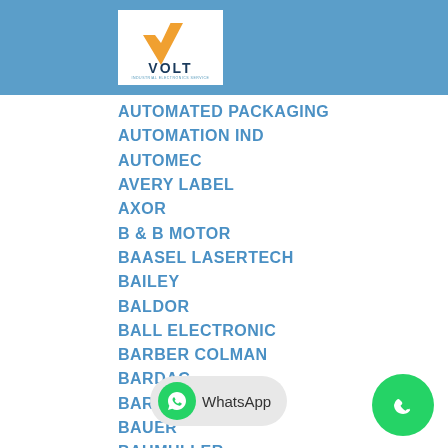[Figure (logo): VOLT logo with orange V checkmark and blue VOLT text on white background in blue header]
AUTOMATED PACKAGING
AUTOMATION IND
AUTOMEC
AVERY LABEL
AXOR
B & B MOTOR
BAASEL LASERTECH
BAILEY
BALDOR
BALL ELECTRONIC
BARBER COLMAN
BARDAC
BARRETT
BAUER
BAUMULLER
BBC-BROWN BOVERI
BEEDE
BELL & HOWELL
BENDIX
BENDRICH
[Figure (infographic): WhatsApp button overlay with green circle phone icon and WhatsApp text label, plus a separate green phone circle button in bottom right]